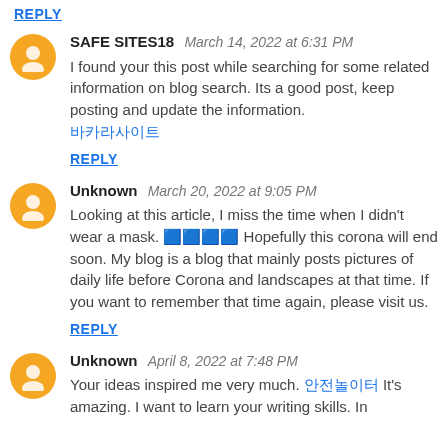REPLY
SAFE SITES18   March 14, 2022 at 6:31 PM
I found your this post while searching for some related information on blog search. Its a good post, keep posting and update the information. 바카라사이트
REPLY
Unknown   March 20, 2022 at 9:05 PM
Looking at this article, I miss the time when I didn't wear a mask. 😷😷😷😷 Hopefully this corona will end soon. My blog is a blog that mainly posts pictures of daily life before Corona and landscapes at that time. If you want to remember that time again, please visit us.
REPLY
Unknown   April 8, 2022 at 7:48 PM
Your ideas inspired me very much. 안전놀이터 It's amazing. I want to learn your writing skills. In